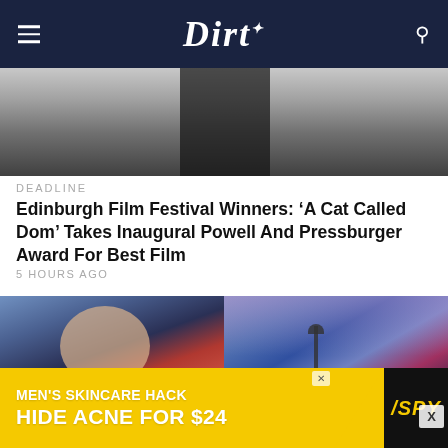Dirt
[Figure (photo): Partial hero image showing dark background at top]
DEADLINE
Edinburgh Film Festival Winners: ‘A Cat Called Dom’ Takes Inaugural Powell And Pressburger Award For Best Film
5 HOURS AGO
[Figure (photo): Woman with blonde bob haircut wearing red outfit at an event]
[Figure (photo): Young woman with braids at a microphone on a stage with colorful lighting]
[Figure (other): Advertisement: MEN'S SKINCARE HACK HIDE ACNE FOR $24 SPY]